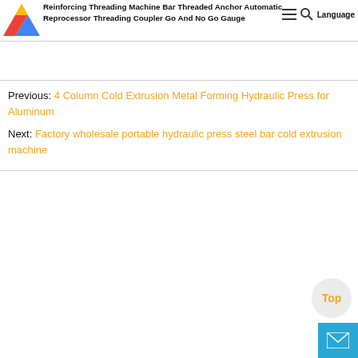Reinforcing Threading Machine Bar Threaded Anchor Automatic Reprocessor Threading Coupler Go And No Go Gauge
Previous: 4 Column Cold Extrusion Metal Forming Hydraulic Press for Aluminum
Next: Factory wholesale portable hydraulic press steel bar cold extrusion machine